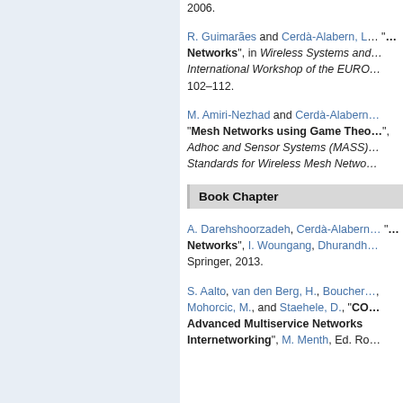2006.
R. Guimarães and Cerdà-Alabern, L. "...Networks", in Wireless Systems and International Workshop of the EURO..., 102–112.
M. Amiri-Nezhad and Cerdà-Alabern... "Mesh Networks using Game Theo...", Adhoc and Sensor Systems (MASS)..., Standards for Wireless Mesh Netwo...
Book Chapter
A. Darehshoorzadeh, Cerdà-Alabern... "...Networks", I. Woungang, Dhurandh..., Springer, 2013.
S. Aalto, van den Berg, H., Boucher..., Mohorcic, M., and Staehele, D., "CO... Advanced Multiservice Networks... Internetworking", M. Menth, Ed. Ro...